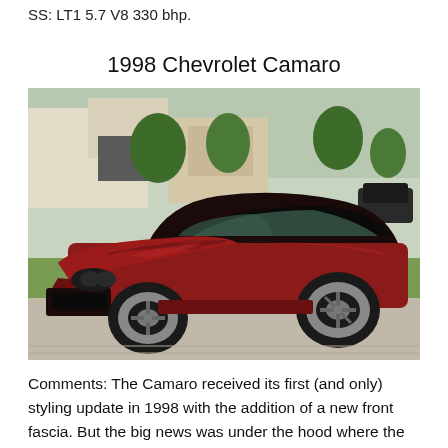SS: LT1 5.7 V8 330 bhp.
1998 Chevrolet Camaro
[Figure (photo): Photo of a red 1998 Chevrolet Camaro coupe parked in a suburban driveway, front 3/4 view, with houses and greenery in the background.]
Comments: The Camaro received its first (and only) styling update in 1998 with the addition of a new front fascia. But the big news was under the hood where the Z28 received